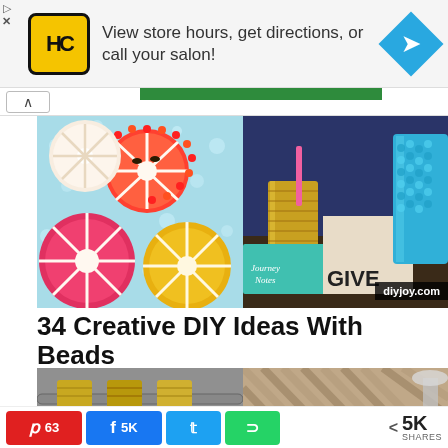[Figure (screenshot): Advertisement banner for Hair Club (HC) salon: yellow square logo with HC text, ad text 'View store hours, get directions, or call your salon!', blue diamond navigation arrow icon. Skip/close controls at left.]
[Figure (photo): Split image: left side shows colorful crochet citrus fruit coasters/lids on polka dot background (orange, pink, yellow); right side shows gold tin can and blue glass bead vase on nightstand with books including 'GIVE' text visible. diyjoy.com watermark badge in bottom right.]
34 Creative DIY Ideas With Beads
[Figure (photo): Split image: left side shows gold metallic tin cans used as curtain rod rings on a curtain rod against grey wall; right side shows herringbone wood plank headboard with pink pillows and lamp.]
[Figure (infographic): Social share bar with Pinterest (63 shares, red), Facebook (5K shares, blue), Twitter (blue), WhatsApp (green) buttons, and total 5K SHARES count with share icon.]